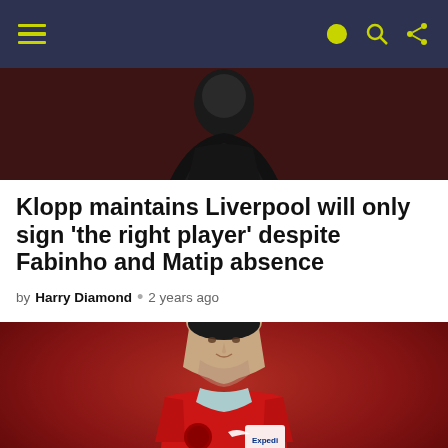Navigation bar with hamburger menu and icons
[Figure (photo): Top cropped photo of a person (manager) in dark clothing against a red background]
Klopp maintains Liverpool will only sign ‘the right player’ despite Fabinho and Matip absence
by Harry Diamond • 2 years ago
[Figure (photo): Photo of Joel Matip in Liverpool red kit with Expedia sponsor, looking to the side against a red background]